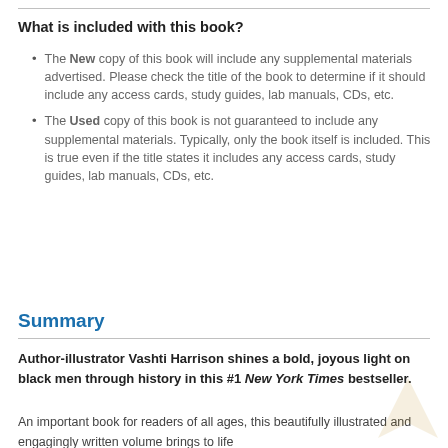What is included with this book?
The New copy of this book will include any supplemental materials advertised. Please check the title of the book to determine if it should include any access cards, study guides, lab manuals, CDs, etc.
The Used copy of this book is not guaranteed to include any supplemental materials. Typically, only the book itself is included. This is true even if the title states it includes any access cards, study guides, lab manuals, CDs, etc.
Summary
Author-illustrator Vashti Harrison shines a bold, joyous light on black men through history in this #1 New York Times bestseller.
An important book for readers of all ages, this beautifully illustrated and engagingly written volume brings to life